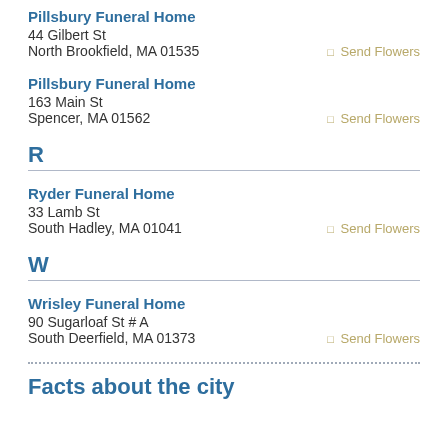Pillsbury Funeral Home
44 Gilbert St
North Brookfield, MA 01535
Send Flowers
Pillsbury Funeral Home
163 Main St
Spencer, MA 01562
Send Flowers
R
Ryder Funeral Home
33 Lamb St
South Hadley, MA 01041
Send Flowers
W
Wrisley Funeral Home
90 Sugarloaf St # A
South Deerfield, MA 01373
Send Flowers
Facts about the city